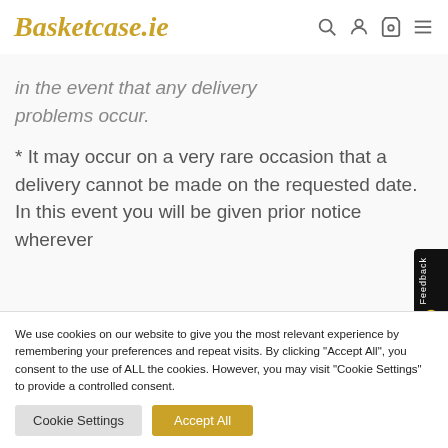Basketcase.ie
in the event that any delivery problems occur.
* It may occur on a very rare occasion that a delivery cannot be made on the requested date. In this event you will be given prior notice wherever
We use cookies on our website to give you the most relevant experience by remembering your preferences and repeat visits. By clicking “Accept All”, you consent to the use of ALL the cookies. However, you may visit "Cookie Settings" to provide a controlled consent.